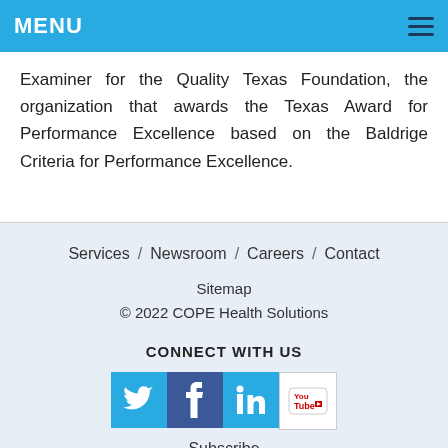MENU
Examiner for the Quality Texas Foundation, the organization that awards the Texas Award for Performance Excellence based on the Baldrige Criteria for Performance Excellence.
Services / Newsroom / Careers / Contact
Sitemap
© 2022 COPE Health Solutions
CONNECT WITH US